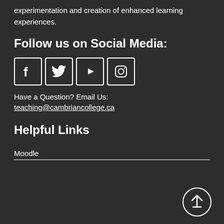experimentation and creation of enhanced learning experiences.
Follow us on Social Media:
[Figure (illustration): Four social media icons in square borders: Facebook (f logo), Twitter (bird logo), YouTube (play button logo), Instagram (camera logo)]
Have a Question? Email Us:
teaching@cambriancollege.ca
Helpful Links
Moodle